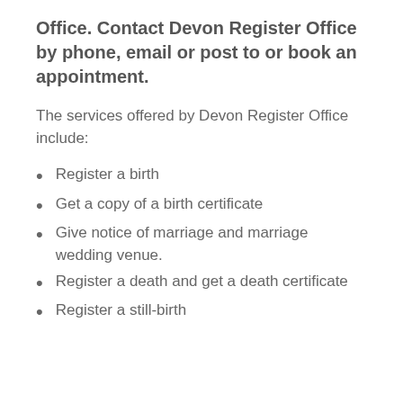Office. Contact Devon Register Office by phone, email or post to or book an appointment.
The services offered by Devon Register Office include:
Register a birth
Get a copy of a birth certificate
Give notice of marriage and marriage wedding venue.
Register a death and get a death certificate
Register a still-birth